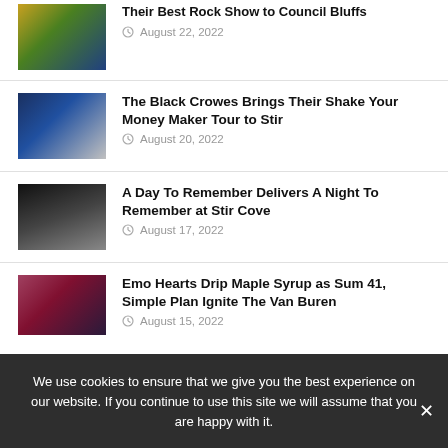[Figure (photo): Concert photo with colorful stage lighting]
August 22, 2022
[Figure (photo): Black Crowes concert with blue stage lighting]
The Black Crowes Brings Their Shake Your Money Maker Tour to Stir
August 20, 2022
[Figure (photo): Black and white concert photo with dramatic stage production]
A Day To Remember Delivers A Night To Remember at Stir Cove
August 17, 2022
[Figure (photo): Colorful concert photo with performers on stage]
Emo Hearts Drip Maple Syrup as Sum 41, Simple Plan Ignite The Van Buren
August 15, 2022
We use cookies to ensure that we give you the best experience on our website. If you continue to use this site we will assume that you are happy with it.